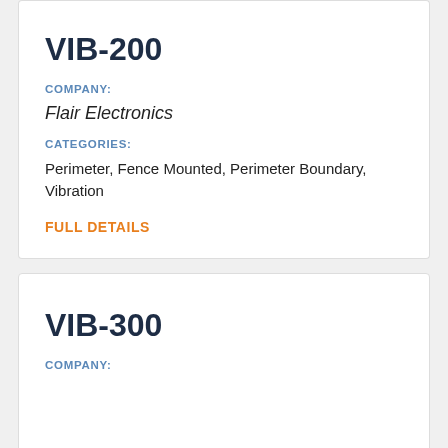VIB-200
COMPANY:
Flair Electronics
CATEGORIES:
Perimeter, Fence Mounted, Perimeter Boundary, Vibration
FULL DETAILS
VIB-300
COMPANY: